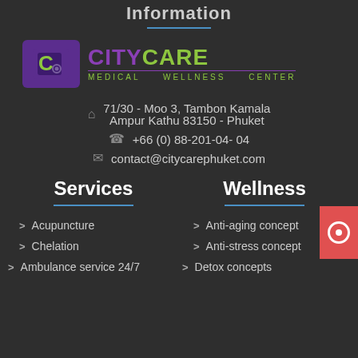Information
[Figure (logo): CityCare Medical & Wellness Center logo with purple square icon and two-tone text]
71/30 - Moo 3, Tambon Kamala
Ampur Kathu 83150 - Phuket
+66 (0) 88-201-04- 04
contact@citycarephuket.com
Services
Wellness
Acupuncture
Anti-aging concept
Chelation
Anti-stress concept
Ambulance service 24/7
Detox concepts